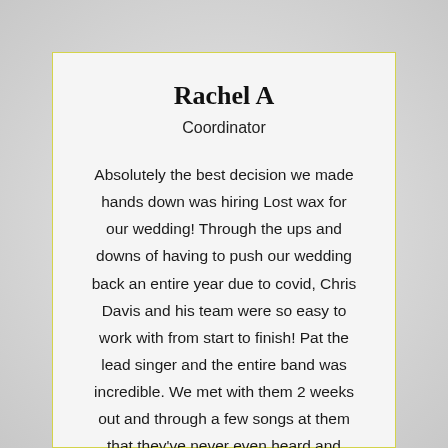Rachel A
Coordinator
Absolutely the best decision we made hands down was hiring Lost wax for our wedding! Through the ups and downs of having to push our wedding back an entire year due to covid, Chris Davis and his team were so easy to work with from start to finish! Pat the lead singer and the entire band was incredible. We met with them 2 weeks out and through a few songs at them that they've never even heard and killed it. I had high